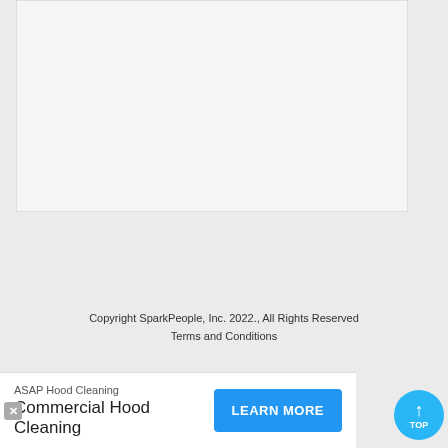[Figure (other): Large blank/empty content area box with light gray background and border]
Copyright SparkPeople, Inc. 2022., All Rights Reserved
Terms and Conditions
[Figure (other): Advertisement bar: ASAP Hood Cleaning - Commercial Hood Cleaning with LEARN MORE button]
[Figure (other): Blue circular TOP button with upward arrow]